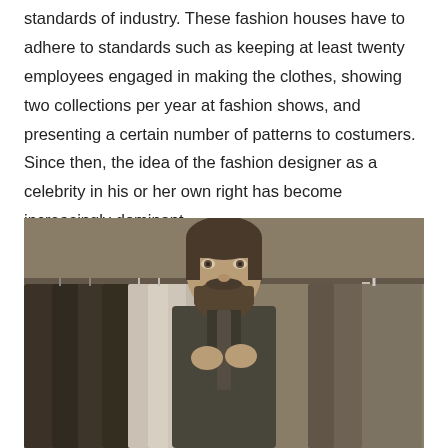standards of industry. These fashion houses have to adhere to standards such as keeping at least twenty employees engaged in making the clothes, showing two collections per year at fashion shows, and presenting a certain number of patterns to costumers. Since then, the idea of the fashion designer as a celebrity in his or her own right has become increasingly dominant.
[Figure (photo): A bearded man in a dark shirt adjusting his tie, standing in front of a clothing rack with suits and white shirts hanging on hangers. The image has a warm sepia/desaturated tone.]